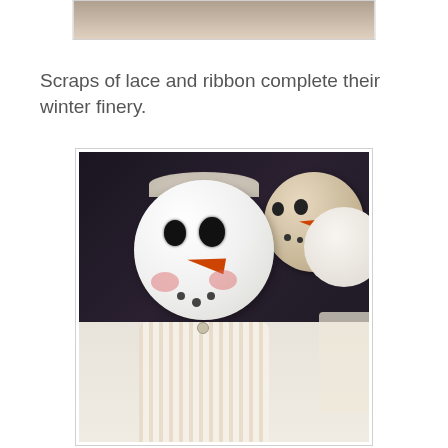[Figure (photo): Top partial photo of snowman figures, cropped at the top of the page]
Scraps of lace and ribbon complete their winter finery.
[Figure (photo): Photo of handmade snowman decorations with round white heads, carrot noses, black button eyes, pink cheeks, and lace/ribbon bodies and accessories arranged on a white surface against a dark background]